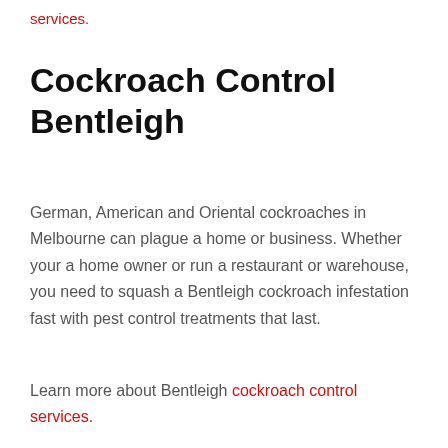services.
Cockroach Control Bentleigh
German, American and Oriental cockroaches in Melbourne can plague a home or business. Whether your a home owner or run a restaurant or warehouse, you need to squash a Bentleigh cockroach infestation fast with pest control treatments that last.
Learn more about Bentleigh cockroach control services.